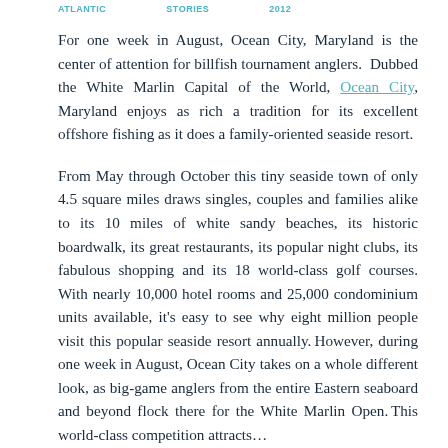ATLANTIC   STORIES   2012
For one week in August, Ocean City, Maryland is the center of attention for billfish tournament anglers. Dubbed the White Marlin Capital of the World, Ocean City, Maryland enjoys as rich a tradition for its excellent offshore fishing as it does a family-oriented seaside resort.
From May through October this tiny seaside town of only 4.5 square miles draws singles, couples and families alike to its 10 miles of white sandy beaches, its historic boardwalk, its great restaurants, its popular night clubs, its fabulous shopping and its 18 world-class golf courses. With nearly 10,000 hotel rooms and 25,000 condominium units available, it's easy to see why eight million people visit this popular seaside resort annually. However, during one week in August, Ocean City takes on a whole different look, as big-game anglers from the entire Eastern seaboard and beyond flock there for the White Marlin Open. This world-class competition attracts…